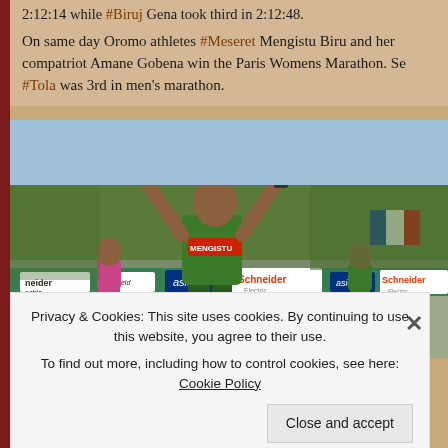2:12:14 while #Biruj Gena took third in 2:12:48.
On same day Oromo athletes #Meseret Mengistu Biru and her compatriot Amane Gobena win the Paris Womens Marathon. Se #Tola was 3rd in men's marathon.
[Figure (photo): Female marathon runner breaking the finish tape at the Paris Marathon finish line, raising her hands in victory. The finish tape reads 'Schneider Electric' and 'asics'. A name tag 'MENGISTU' is visible on her bib. Other runners visible in the background, along with French flags and sponsor banners.]
Privacy & Cookies: This site uses cookies. By continuing to use this website, you agree to their use.
To find out more, including how to control cookies, see here: Cookie Policy
Close and accept